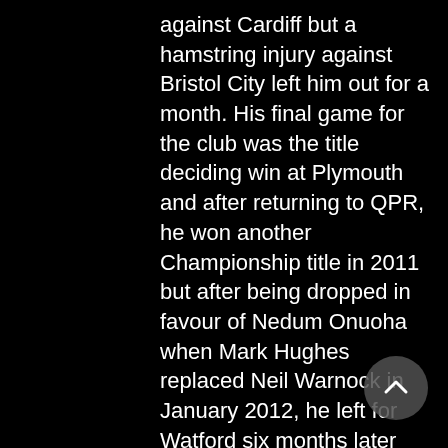against Cardiff but a hamstring injury against Bristol City left him out for a month. His final game for the club was the title deciding win at Plymouth and after returning to QPR, he won another Championship title in 2011 but after being dropped in favour of Nedum Onuoha when Mark Hughes replaced Neil Warnock in January 2012, he left for Watford six months later and spent the last two years of his career there.
Patrick Van Aanholt
Patrick Van Aanholt was brought in on an emergency loan deal when Jose Enrique got injured (proving Kevin Keegan right when he said he needed another left back in the summer of 2008) but only played seven games